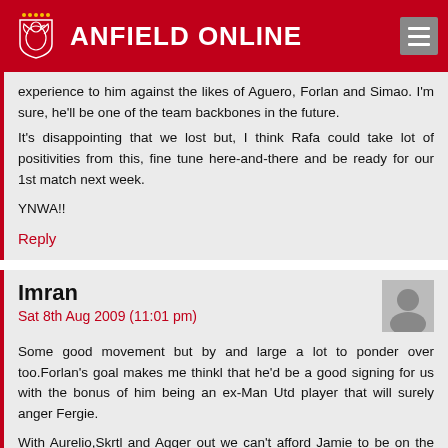ANFIELD ONLINE
experience to him against the likes of Aguero, Forlan and Simao. I'm sure, he'll be one of the team backbones in the future.
It's disappointing that we lost but, I think Rafa could take lot of positivities from this, fine tune here-and-there and be ready for our 1st match next week.
YNWA!!
Reply
Imran
Sat 8th Aug 2009 (11:01 pm)
Some good movement but by and large a lot to ponder over too.Forlan's goal makes me thinkl that he'd be a good signing for us with the bonus of him being an ex-Man Utd player that will surely anger Fergie.
With Aurelio,Skrtl and Agger out we can't afford Jamie to be on the bench with them so hopefully he'll be fit for the